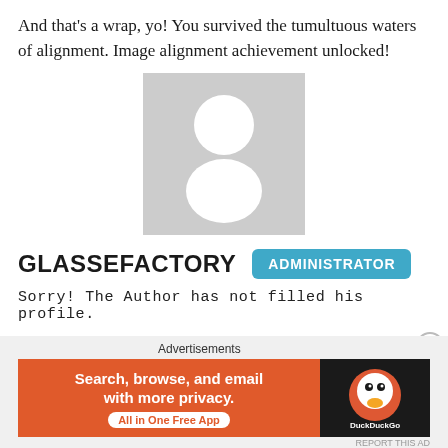And that's a wrap, yo! You survived the tumultuous waters of alignment. Image alignment achievement unlocked!
[Figure (illustration): Generic grey avatar placeholder image showing a silhouette of a person (white head circle and body shape) on a grey background]
GLASSEFACTORY   ADMINISTRATOR
Sorry! The Author has not filled his profile.
Web http://glassefactory.com
[Figure (screenshot): DuckDuckGo advertisement banner with orange background saying 'Search, browse, and email with more privacy. All in One Free App' and DuckDuckGo logo on dark right panel]
Advertisements